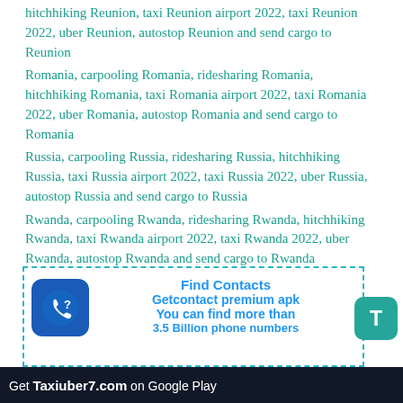hitchhiking Reunion, taxi Reunion airport 2022, taxi Reunion 2022, uber Reunion, autostop Reunion and send cargo to Reunion
Romania, carpooling Romania, ridesharing Romania, hitchhiking Romania, taxi Romania airport 2022, taxi Romania 2022, uber Romania, autostop Romania and send cargo to Romania
Russia, carpooling Russia, ridesharing Russia, hitchhiking Russia, taxi Russia airport 2022, taxi Russia 2022, uber Russia, autostop Russia and send cargo to Russia
Rwanda, carpooling Rwanda, ridesharing Rwanda, hitchhiking Rwanda, taxi Rwanda airport 2022, taxi Rwanda 2022, uber Rwanda, autostop Rwanda and send cargo to Rwanda
S
[Figure (infographic): Find Contacts advertisement box with dashed teal border, phone/question mark icon on blue background, text 'Find Contacts', 'Getcontact premium apk', 'You can find more than', '3.5 Billion phone numbers' in blue bold text, green T button on right side]
Get Taxiuber7.com on Google Play